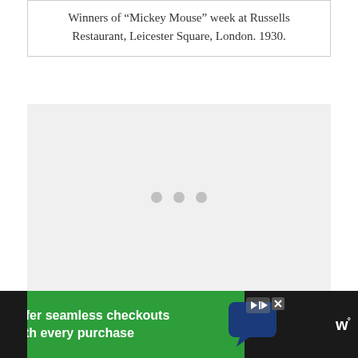Winners of “Mickey Mouse” week at Russells Restaurant, Leicester Square, London. 1930.
[Figure (photo): A loading/placeholder area with a light gray background and three gray dots in the center, indicating an image that has not yet loaded.]
[Figure (other): Advertisement banner at the bottom of the page with green background reading 'Offer seamless checkouts with every purchase', a chat bubble icon, play/skip controls, close button, and a 'w°' logo on a dark background.]